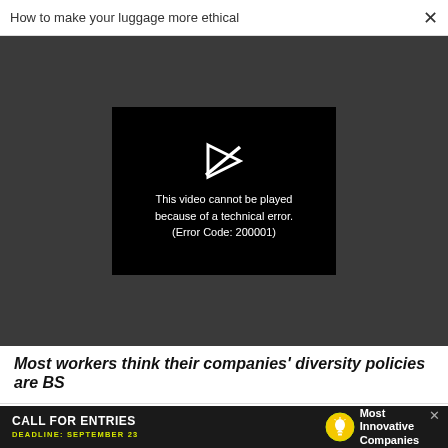How to make your luggage more ethical  ×
[Figure (screenshot): Video player showing error message: 'This video cannot be played because of a technical error. (Error Code: 200001)' on black background, inside a dark gray area.]
Most workers think their companies' diversity policies are BS
WORK LIFE
Women are supporting a tax system that doesn't support them
[Figure (infographic): Advertisement banner: CALL FOR ENTRIES, DEADLINE: SEPTEMBER 23, Most Innovative Companies, with lightbulb icon and close X button.]